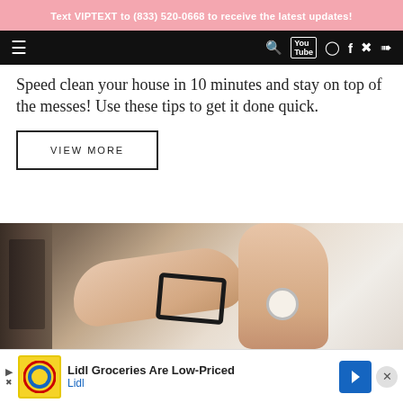Text VIPTEXT to (833) 520-0668 to receive the latest updates!
[Figure (screenshot): Navigation bar with hamburger menu icon on left and social media icons (search, YouTube, Instagram, Facebook, Pinterest, Twitter) on right, dark background]
Speed clean your house in 10 minutes and stay on top of the messes! Use these tips to get it done quick.
VIEW MORE
[Figure (photo): Close-up photo of a person's hands holding eyeglasses, with a dark bag/backpack on the left side, wearing a watch on wrist, light background]
[Figure (screenshot): Advertisement banner: Lidl Groceries Are Low-Priced, with Lidl logo and blue navigation arrow icon, with close button]